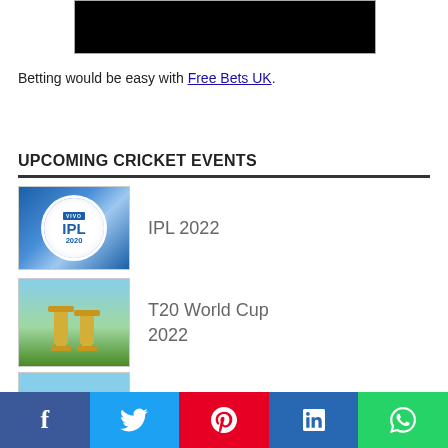[Figure (photo): Black rectangle image at top of page]
Betting would be easy with Free Bets UK.
UPCOMING CRICKET EVENTS
[Figure (photo): IPL 2022 logo image with VIVO IPL 2020 branding on blue background]
IPL 2022
[Figure (photo): T20 World Cup trophies on cricket ground]
T20 World Cup 2022
[Figure (photo): Partial image of another cricket event at bottom]